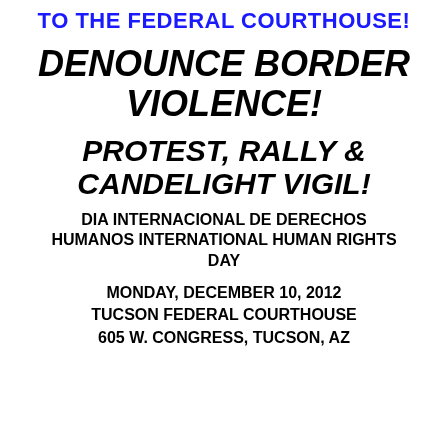TO THE FEDERAL COURTHOUSE!
DENOUNCE BORDER VIOLENCE!
PROTEST, RALLY & CANDELIGHT VIGIL!
DIA INTERNACIONAL DE DERECHOS HUMANOS INTERNATIONAL HUMAN RIGHTS DAY
MONDAY, DECEMBER 10, 2012 TUCSON FEDERAL COURTHOUSE 605 W. CONGRESS, TUCSON, AZ